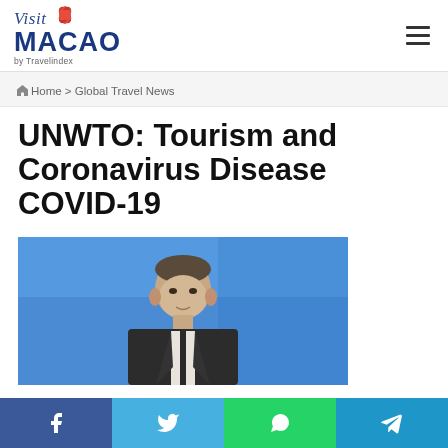[Figure (logo): Visit Macao by Travelindex logo with red lotus flower]
Home > Global Travel News
UNWTO: Tourism and Coronavirus Disease COVID-19
[Figure (photo): Man in suit speaking at a press conference against a blue background]